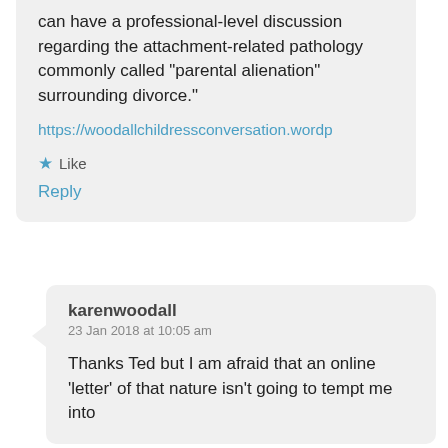can have a professional-level discussion regarding the attachment-related pathology commonly called “parental alienation” surrounding divorce.”
https://woodallchildressconversation.wordp
★ Like
Reply
karenwoodall
23 Jan 2018 at 10:05 am
Thanks Ted but I am afraid that an online ‘letter’ of that nature isn’t going to tempt me into